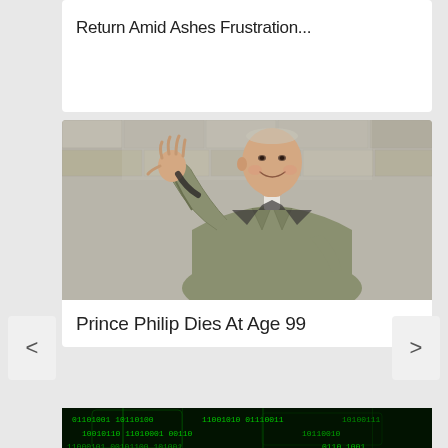Return Amid Ashes Frustration...
[Figure (photo): Photo of an elderly man (Prince Philip) in a light olive jacket waving with his right hand raised, smiling, with a stone wall background]
Prince Philip Dies At Age 99
[Figure (photo): Partial image showing green matrix-style code on a dark background with electronic devices]